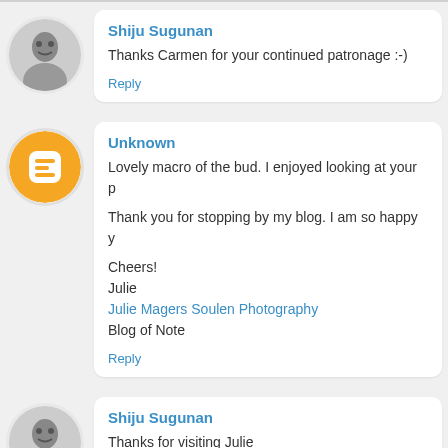— (top border separator)
Shiju Sugunan
Thanks Carmen for your continued patronage :-)
Reply
Unknown
Lovely macro of the bud. I enjoyed looking at your p
Thank you for stopping by my blog. I am so happy y
Cheers!
Julie
Julie Magers Soulen Photography
Blog of Note
Reply
Shiju Sugunan
Thanks for visiting Julie